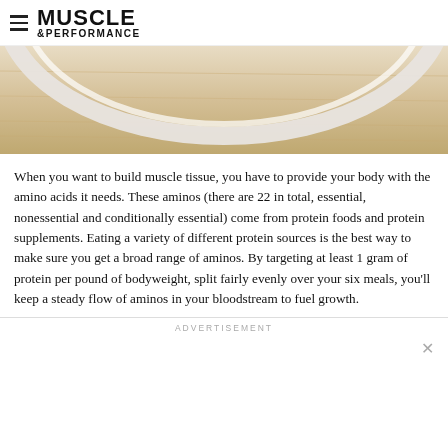MUSCLE &PERFORMANCE
[Figure (photo): Partial view of a white plate on a wooden surface, seen from above — the rim of the plate against a warm wood-grain background.]
When you want to build muscle tissue, you have to provide your body with the amino acids it needs. These aminos (there are 22 in total, essential, nonessential and conditionally essential) come from protein foods and protein supplements. Eating a variety of different protein sources is the best way to make sure you get a broad range of aminos. By targeting at least 1 gram of protein per pound of bodyweight, split fairly evenly over your six meals, you'll keep a steady flow of aminos in your bloodstream to fuel growth.
ADVERTISEMENT